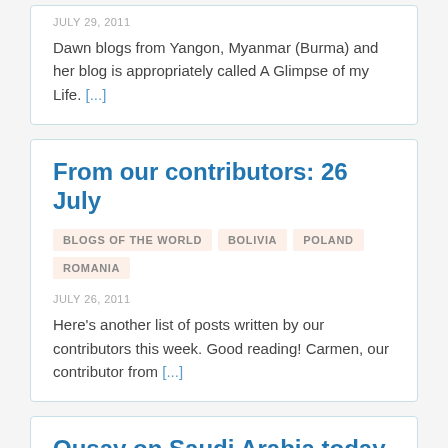JULY 29, 2011
Dawn blogs from Yangon, Myanmar (Burma) and her blog is appropriately called A Glimpse of my Life. [...]
From our contributors: 26 July
BLOGS OF THE WORLD   BOLIVIA   POLAND   ROMANIA
JULY 26, 2011
Here's another list of posts written by our contributors this week. Good reading! Carmen, our contributor from [...]
Qusay on Saudi Arabia today
BLOGS OF THE WORLD   SAUDI ARABIA
JULY 31, 2011